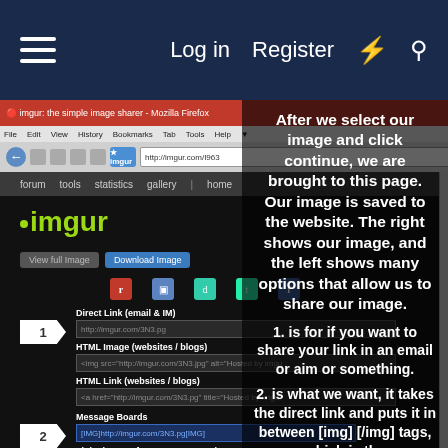Log in   Register
[Figure (screenshot): Browser screenshot of imgur.com showing an uploaded image page with sharing options including Direct Link, HTML Image, HTML Link, and Message Boards fields. The imgur interface has a dark theme. The left panel shows sharing link options with numbered arrow badges (1 and 2). The right portion of the screenshot overlaps with explanatory text.]
After we select our image and click continue, we are brought to this page. Our image is saved to the website. The right shows our image, and the left shows many options that allow us to share our image.

1. is for if you want to share your link in an email or aim or something.

2. is what we want, it takes the direct link and puts it in between [img] [/img] tags, which is the